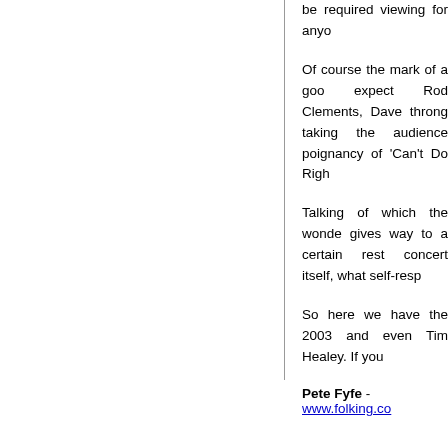be required viewing for anyo
Of course the mark of a goo expect Rod Clements, Dave throng taking the audience poignancy of 'Can't Do Righ
Talking of which the wonde gives way to a certain rest concert itself, what self-resp
So here we have the 2003 and even Tim Healey. If you
Pete Fyfe - www.folking.co